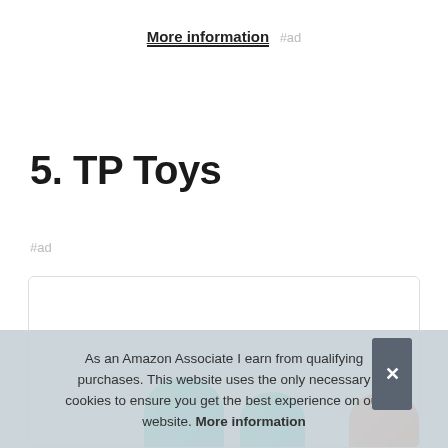More information #ad
5. TP Toys
#ad
[Figure (photo): Product card showing colorful TP Toys products, partially visible at the bottom of the card. Teal and orange toy shapes visible.]
As an Amazon Associate I earn from qualifying purchases. This website uses the only necessary cookies to ensure you get the best experience on our website. More information